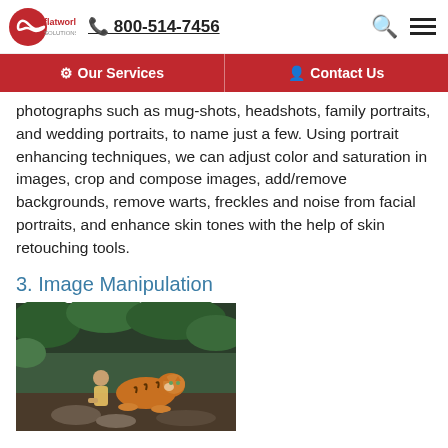flatworld solutions | 800-514-7456
photographs such as mug-shots, headshots, family portraits, and wedding portraits, to name just a few. Using portrait enhancing techniques, we can adjust color and saturation in images, crop and compose images, add/remove backgrounds, remove warts, freckles and noise from facial portraits, and enhance skin tones with the help of skin retouching tools.
3. Image Manipulation
[Figure (photo): A person sitting with a tiger on rocky terrain with green foliage in the background — an image manipulation example.]